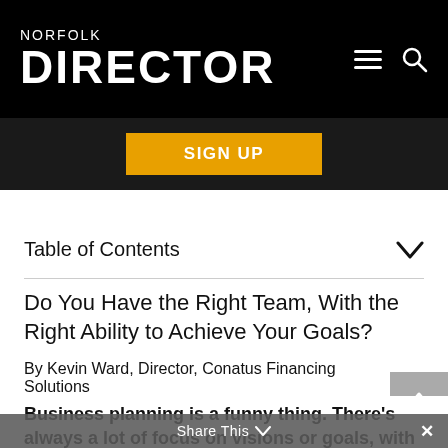NORFOLK DIRECTOR
SIGN UP
Table of Contents
Do You Have the Right Team, With the Right Ability to Achieve Your Goals?
By Kevin Ward, Director, Conatus Financing Solutions
Business planning is a funny thing. There’s always a lot of focus on visions or goals, with a lot of attention given